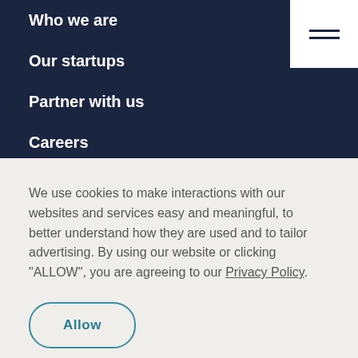Who we are
Our startups
Partner with us
Careers
We use cookies to make interactions with our websites and services easy and meaningful, to better understand how they are used and to tailor advertising. By using our website or clicking “ALLOW”, you are agreeing to our Privacy Policy.
Allow